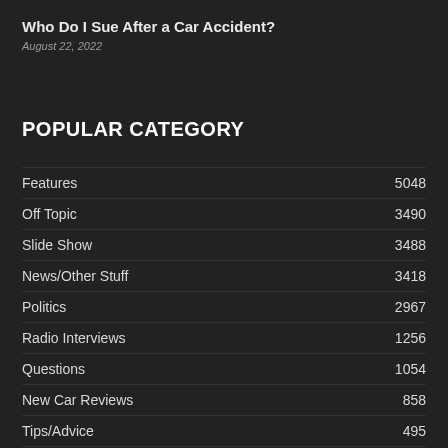Who Do I Sue After a Car Accident?
August 22, 2022
POPULAR CATEGORY
Features 5048
Off Topic 3490
Slide Show 3488
News/Other Stuff 3418
Politics 2967
Radio Interviews 1256
Questions 1054
New Car Reviews 858
Tips/Advice 495
Radio 408